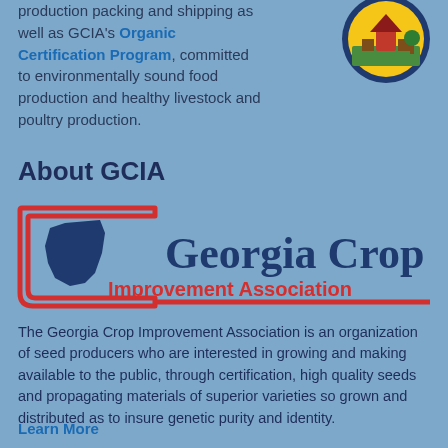production packing and shipping as well as GCIA's Organic Certification Program, committed to environmentally sound food production and healthy livestock and poultry production.
[Figure (logo): Georgia Department of Agriculture circular seal logo with yellow and blue colors]
About GCIA
[Figure (logo): Georgia Crop Improvement Association logo with Georgia state shape in blue, red bracket outline, 'Georgia Crop' in dark blue bold text, 'Improvement Association' in red text]
The Georgia Crop Improvement Association is an organization of seed producers who are interested in growing and making available to the public, through certification, high quality seeds and propagating materials of superior varieties so grown and distributed as to insure genetic purity and identity.
Learn More